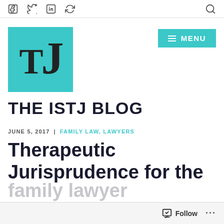Social icons (Facebook, Twitter, LinkedIn, refresh/share) and search icon
[Figure (logo): TJ logo on teal/turquoise square background — THE ISTJ BLOG]
THE ISTJ BLOG
JUNE 5, 2017 | FAMILY LAW, LAWYERS
Therapeutic Jurisprudence for the family lawyer
Follow ...